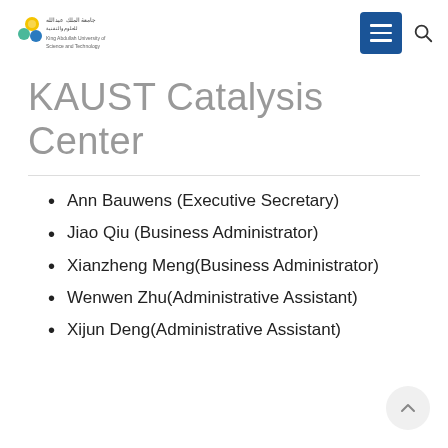[Figure (logo): KAUST (King Abdullah University of Science and Technology) logo with colorful circular icons and Arabic/English text]
KAUST Catalysis Center
Ann Bauwens (Executive Secretary)
Jiao Qiu (Business Administrator)
Xianzheng Meng(Business Administrator)
Wenwen Zhu(Administrative Assistant)
Xijun Deng(Administrative Assistant)